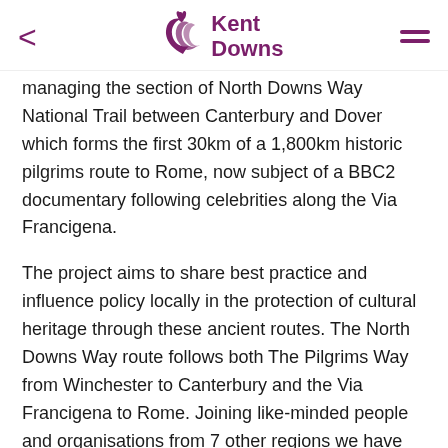Kent Downs
managing the section of North Downs Way National Trail between Canterbury and Dover which forms the first 30km of a 1,800km historic pilgrims route to Rome, now subject of a BBC2 documentary following celebrities along the Via Francigena.
The project aims to share best practice and influence policy locally in the protection of cultural heritage through these ancient routes. The North Downs Way route follows both The Pilgrims Way from Winchester to Canterbury and the Via Francigena to Rome. Joining like-minded people and organisations from 7 other regions we have plotted our way across Europe with trips to Romania, Santiago (naturally), Sweden, Norway and recently found ourselves hosted by our Italian partners in Puglia region. Needless to say all these trips